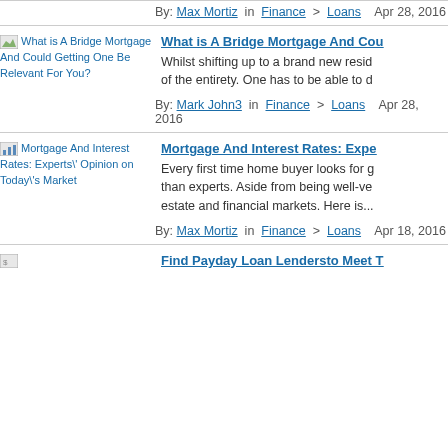By: Max Mortiz in Finance > Loans  Apr 28, 2016
[Figure (other): Thumbnail image for 'What is A Bridge Mortgage And Could Getting One Be Relevant For You?']
What is A Bridge Mortgage And Could Getting One Be Relevant For You?
Whilst shifting up to a brand new resid... of the entirety. One has to be able to d...
By: Mark John3 in Finance > Loans  Apr 28, 2016
[Figure (other): Thumbnail image for 'Mortgage And Interest Rates: Experts' Opinion on Today's Market']
Mortgage And Interest Rates: Experts' Opinion on Today's Market
Every first time home buyer looks for g... than experts. Aside from being well-ve... estate and financial markets. Here is...
By: Max Mortiz in Finance > Loans  Apr 18, 2016
Find Payday Loan Lendersto Meet T...